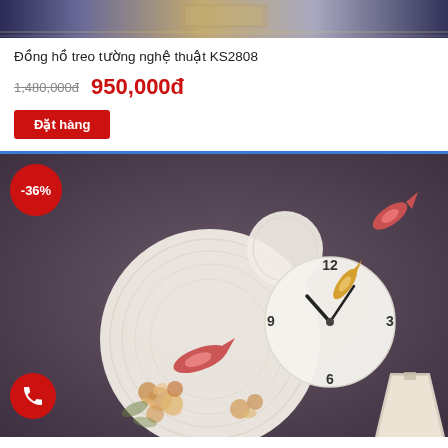[Figure (photo): Top decorative strip showing partial product image — ornate wall clock with fish decorations on dark background]
Đồng hồ treo tường nghệ thuật KS2808
1,480,000đ 950,000đ
Đặt hàng
[Figure (photo): Decorative wall clock KS2808 with koi fish and floral motifs on a dark purple-grey background. The clock face shows time near 10:10. A white lamp shade is visible at the bottom right. A red -36% discount badge is in the top left corner.]